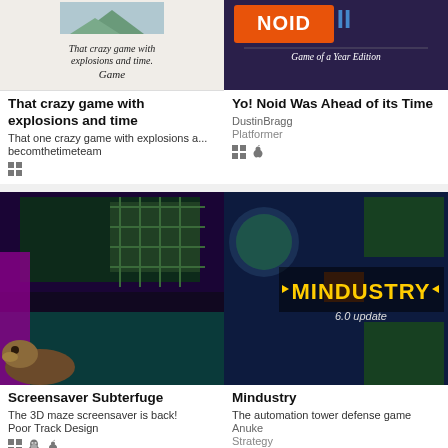[Figure (screenshot): Game thumbnail showing text 'That crazy game with explosions and time. Game' on light background with small image]
[Figure (screenshot): Yo! Noid II Game of a Year Edition dark purple thumbnail with logo]
That crazy game with explosions and time
That one crazy game with explosions a...
becomthetimeteam
Yo! Noid Was Ahead of its Time
DustinBragg
Platformer
[Figure (screenshot): Screensaver Subterfuge 3D maze screenshot with colorful psychedelic textures and a mole/rodent]
[Figure (screenshot): Mindustry 6.0 update screenshot showing space strategy/tower defense game]
Screensaver Subterfuge
The 3D maze screensaver is back!
Poor Track Design
Mindustry
The automation tower defense game
Anuke
Strategy